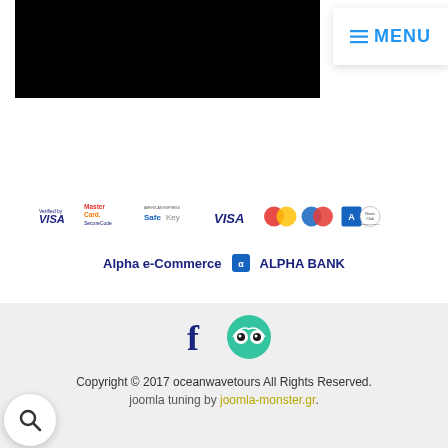[Figure (screenshot): Black banner image in top left area of the website header]
≡ MENU
[Figure (infographic): Payment method logos: Verified by VISA, MasterCard SecureCode, American Express SafeKey, VISA, Mastercard, Maestro, American Express, Diners Club International, Alpha e-Commerce, Alpha Bank]
[Figure (logo): Social media icons: Facebook and TripAdvisor]
Copyright © 2017 oceanwavetours All Rights Reserved. joomla tuning by joomla-monster.gr.